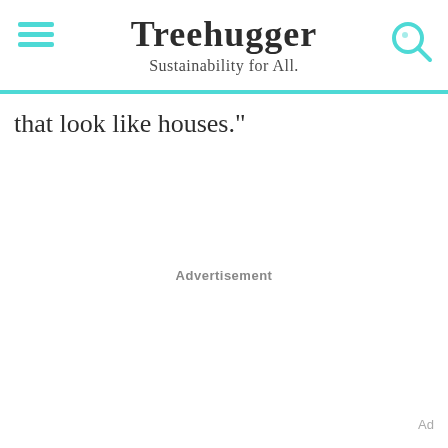Treehugger — Sustainability for All.
that look like houses."
Advertisement
Ad